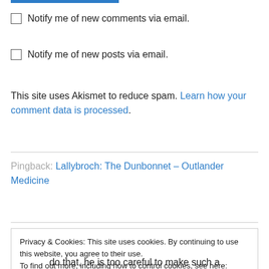Notify me of new comments via email.
Notify me of new posts via email.
This site uses Akismet to reduce spam. Learn how your comment data is processed.
Pingback: Lallybroch: The Dunbonnet – Outlander Medicine
Privacy & Cookies: This site uses cookies. By continuing to use this website, you agree to their use.
To find out more, including how to control cookies, see here: Cookie Policy
do that, he is too careful to make such a